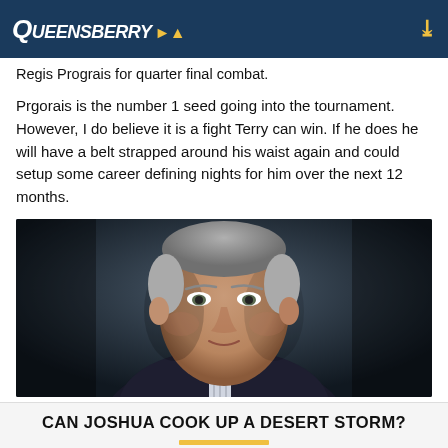Queensberry
Regis Prograis for quarter final combat.
Prgorais is the number 1 seed going into the tournament. However, I do believe it is a fight Terry can win. If he does he will have a belt strapped around his waist again and could setup some career defining nights for him over the next 12 months.
[Figure (photo): Portrait photo of an older man with grey hair wearing a dark suit jacket and striped shirt, against a dark background.]
CAN JOSHUA COOK UP A DESERT STORM?